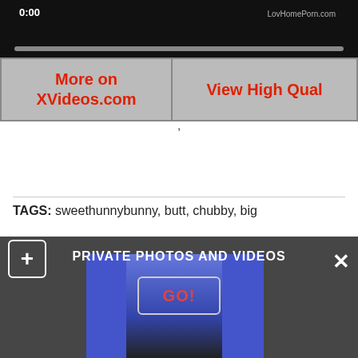[Figure (screenshot): Video player top bar showing timestamp 0:00 and LovHomePorn.com watermark on black background with seek bar]
More on XVideos.com
View High Qual
TAGS: sweethunnybunny, butt, chubby, big
[Figure (screenshot): Bottom overlay banner showing PRIVATE PHOTOS AND VIDEOS with a GO! button, plus icon on left, X close on right, thumbnail image of person in background]